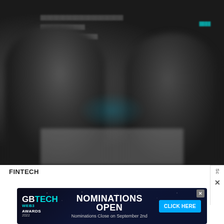[Figure (photo): Two men in business suits shaking hands at a formal event or signing ceremony. The image is dark and blurry with a banner/backdrop visible in the background containing text. A table is visible in the lower portion of the image. A cyan accent color is visible in parts of the background banner.]
FINTECH
[Figure (other): Advertisement banner for GB Tech Web3 Awards 2022 with teal/cyan branding. Text reads: NOMINATIONS OPEN, Nominations Close on September 2nd, CLICK HERE button. Dark background with stars/space theme.]